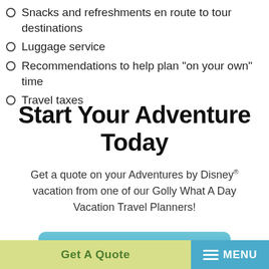Snacks and refreshments en route to tour destinations
Luggage service
Recommendations to help plan "on your own" time
Travel taxes
Start Your Adventure Today
Get a quote on your Adventures by Disney® vacation from one of our Golly What A Day Vacation Travel Planners!
ADVENTURES BY DISNEY® QUOTE
Get A Quote   MENU